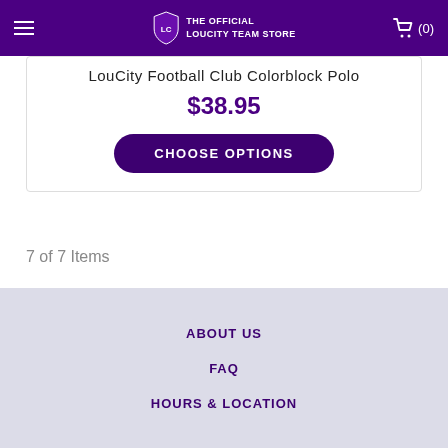THE OFFICIAL LOUCITY TEAM STORE
LouCity Football Club Colorblock Polo
$38.95
CHOOSE OPTIONS
7 of 7 Items
ABOUT US
FAQ
HOURS & LOCATION